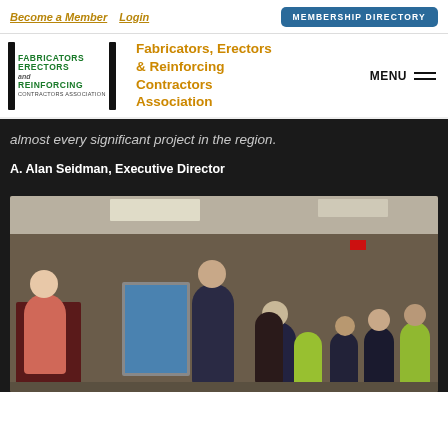Become a Member   Login   MEMBERSHIP DIRECTORY
[Figure (logo): Fabricators Erectors and Reinforcing Contractors Association logo with vertical bar brackets and green text]
Fabricators, Erectors & Reinforcing Contractors Association
almost every significant project in the region.
A. Alan Seidman, Executive Director
[Figure (photo): Indoor event or presentation scene showing a woman in pink at a podium on the left, a man in dark suit speaking near a display board in the center, and a crowd of attendees seated and standing on the right side of the room]